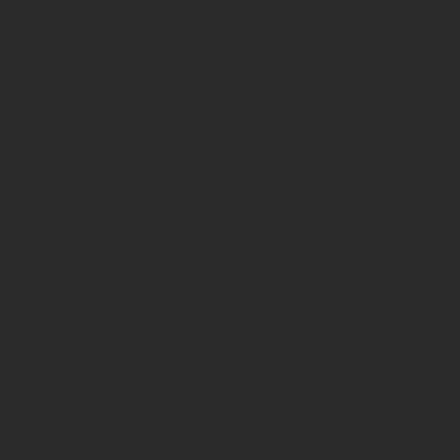571, 572, 573, 574, 575, 576, 577, 578, 579... [continuing sequence of hyperlinked numbers from 571 to 950+]